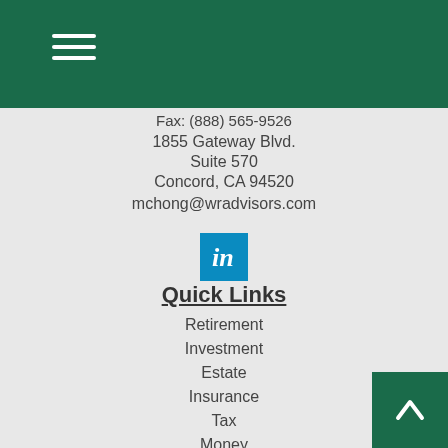Navigation menu header bar with hamburger icon
Fax: (888) 565-9526
1855 Gateway Blvd.
Suite 570
Concord, CA 94520
mchong@wradvisors.com
[Figure (logo): LinkedIn logo icon in blue square]
Quick Links
Retirement
Investment
Estate
Insurance
Tax
Money
Lifestyle
All Articles
All Videos